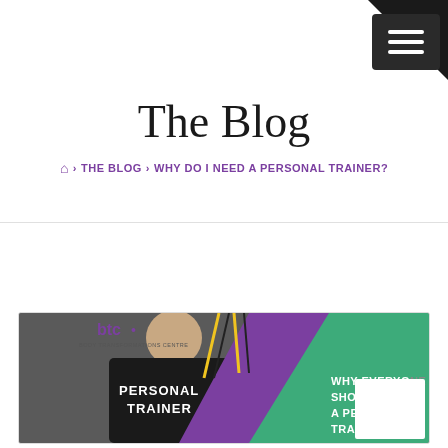The Blog
🏠 > THE BLOG > WHY DO I NEED A PERSONAL TRAINER?
Why do I need a Personal Trainer?
[Figure (photo): BTC (Body Transformations Centre) promotional image showing a personal trainer in a black t-shirt labeled 'PERSONAL TRAINER' working with a client using suspension training straps. The right side has a green and purple diagonal design with text 'WHY EVERYONE SHOULD HAVE A PERSONAL TRAINER']